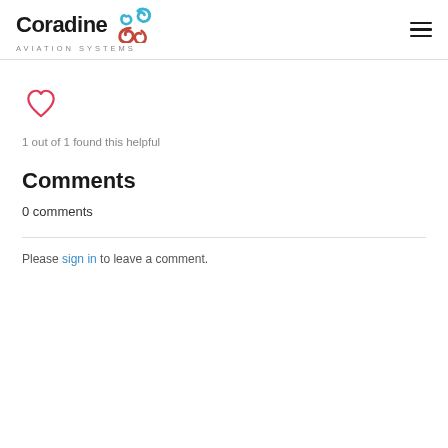Coradine AVIATION SYSTEMS
[Figure (illustration): Heart/like icon outline in pink/red]
1 out of 1 found this helpful
Comments
0 comments
Please sign in to leave a comment.